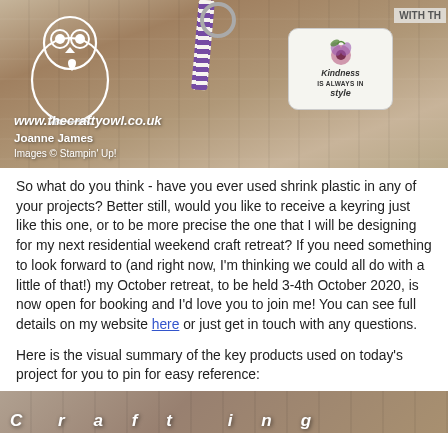[Figure (photo): Photo of a keyring with an owl logo watermark, showing a stamped tag with 'Kindness IS ALWAYS IN style' text and a purple striped ribbon on a wooden background. Website www.thecraftyowl.co.uk, Joanne James, Images © Stampin' Up! watermark overlay.]
So what do you think - have you ever used shrink plastic in any of your projects? Better still, would you like to receive a keyring just like this one, or to be more precise the one that I will be designing for my next residential weekend craft retreat? If you need something to look forward to (and right now, I'm thinking we could all do with a little of that!) my October retreat, to be held 3-4th October 2020, is now open for booking and I'd love you to join me! You can see full details on my website here or just get in touch with any questions.
Here is the visual summary of the key products used on today's project for you to pin for easy reference:
[Figure (photo): Bottom portion of a photo on a wooden background with white italic text beginning to appear at the bottom edge of the page.]